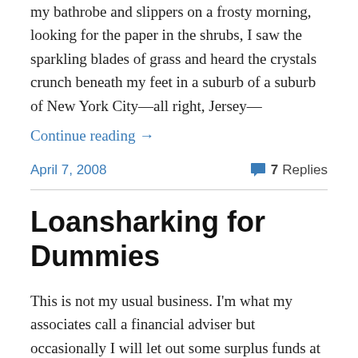my bathrobe and slippers on a frosty morning, looking for the paper in the shrubs, I saw the sparkling blades of grass and heard the crystals crunch beneath my feet in a suburb of a suburb of New York City—all right, Jersey—
Continue reading →
April 7, 2008
7 Replies
Loansharking for Dummies
This is not my usual business. I'm what my associates call a financial adviser but occasionally I will let out some surplus funds at an agreed return to help a person pursue a dream. This could be college; it could be a night of romance with a special lady, a shipment of cigarettes, or it could be something we all take for granted like walking